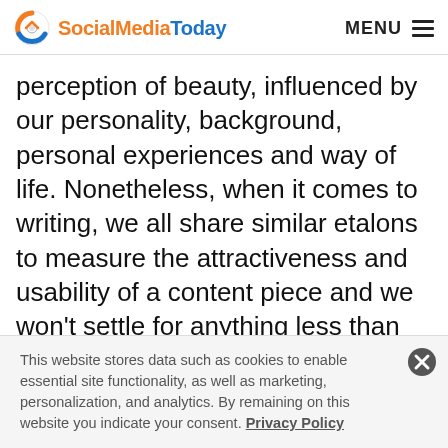SocialMediaToday  MENU
perception of beauty, influenced by our personality, background, personal experiences and way of life. Nonetheless, when it comes to writing, we all share similar etalons to measure the attractiveness and usability of a content piece and we won't settle for anything less than stellar content that informs, educates and entertains at the same time. By ditching useless adornments, using clear everyday language and a tone adapted to your audience, perfecting your storytelling skills and making the most of a broad
This website stores data such as cookies to enable essential site functionality, as well as marketing, personalization, and analytics. By remaining on this website you indicate your consent. Privacy Policy